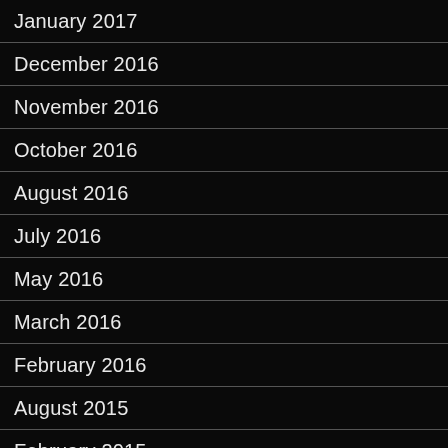January 2017
December 2016
November 2016
October 2016
August 2016
July 2016
May 2016
March 2016
February 2016
August 2015
February 2015
January 2015
December 2014